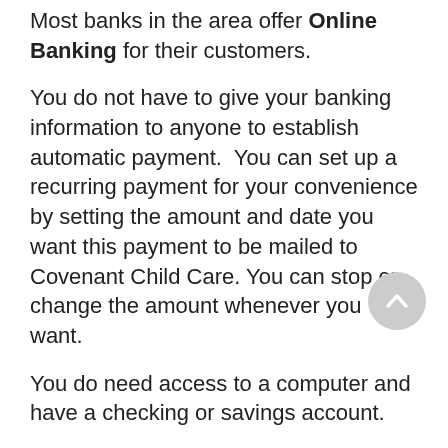Most banks in the area offer Online Banking for their customers.
You do not have to give your banking information to anyone to establish automatic payment. You can set up a recurring payment for your convenience by setting the amount and date you want this payment to be mailed to Covenant Child Care. You can stop or change the amount whenever you want.
You do need access to a computer and have a checking or savings account.
Log into the website of your bank. Click on the link Banking Online or Bill Paying and follow the instructions to add a person or vendor to pay.
The money will be deducted from your account and mailed to Covenant Child